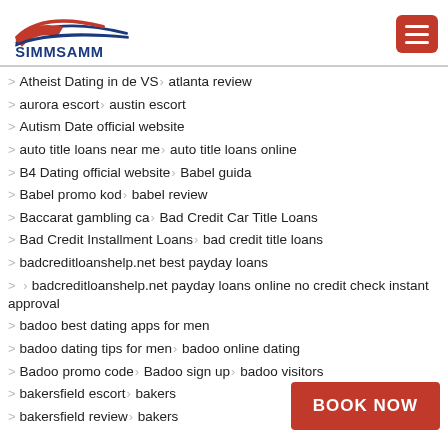SIMMSAMM
Atheist Dating in de VS > atlanta review
aurora escort > austin escort
Autism Date official website
auto title loans near me > auto title loans online
B4 Dating official website > Babel guida
Babel promo kod > babel review
Baccarat gambling ca > Bad Credit Car Title Loans
Bad Credit Installment Loans > bad credit title loans
badcreditloanshelp.net best payday loans
badcreditloanshelp.net payday loans online no credit check instant approval
badoo best dating apps for men
badoo dating tips for men > badoo online dating
Badoo promo code > Badoo sign up > badoo visitors
bakersfield escort > bakers
bakersfield review > bakers
[Figure (other): BOOK NOW red button overlay]